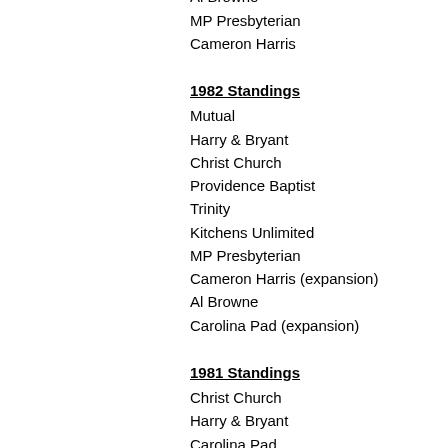Harry & Bryant
Al Browne
MP Presbyterian
Cameron Harris
1982 Standings
Mutual
Harry & Bryant
Christ Church
Providence Baptist
Trinity
Kitchens Unlimited
MP Presbyterian
Cameron Harris (expansion)
Al Browne
Carolina Pad (expansion)
1981 Standings
Christ Church
Harry & Bryant
Carolina Pad
Mutual
Trinity
Al Browne
Providence Baptist
MP Presbyterian